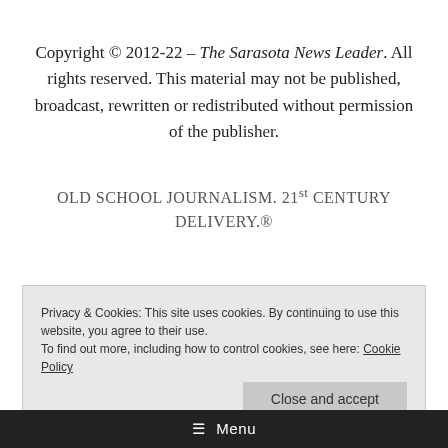Copyright © 2012-22 – The Sarasota News Leader. All rights reserved. This material may not be published, broadcast, rewritten or redistributed without permission of the publisher.
OLD SCHOOL JOURNALISM. 21st CENTURY DELIVERY.®
Privacy & Cookies: This site uses cookies. By continuing to use this website, you agree to their use. To find out more, including how to control cookies, see here: Cookie Policy
Close and accept
≡ Menu